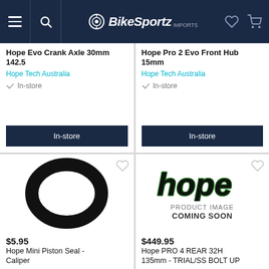BikeSportz Imports
Hope Evo Crank Axle 30mm 142.5
Hope Tech Australia
In-store
Hope Pro 2 Evo Front Hub 15mm
Hope Tech Australia
In-store
[Figure (photo): Black rubber O-ring / piston seal on white background]
$5.95
Hope Mini Piston Seal - Caliper
[Figure (illustration): Hope brand placeholder image showing hope logo with text PRODUCT IMAGE COMING SOON]
$449.95
Hope PRO 4 REAR 32H 135mm - TRIAL/SS BOLT UP